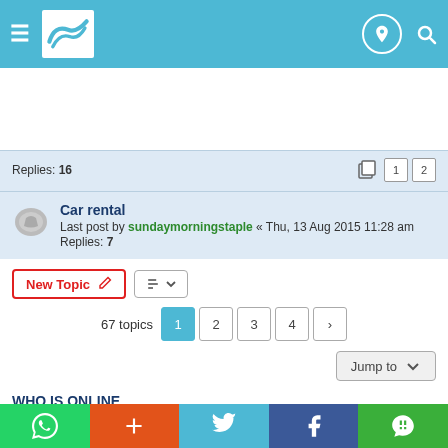Forum navigation header with hamburger menu, logo, and icons
Replies: 16
Car rental
Last post by sundaymorningstaple « Thu, 13 Aug 2015 11:28 am
Replies: 7
New Topic | sort | 67 topics  1 2 3 4 >
Jump to
WHO IS ONLINE
Users browsing this forum: No registered users and 1 guest
FORUM PERMISSIONS
WhatsApp + Twitter Facebook WeChat social sharing bar